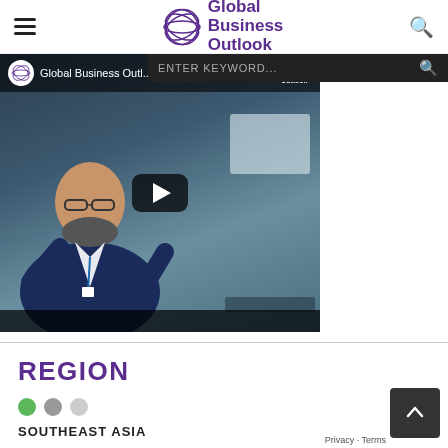Global Business Outlook
[Figure (screenshot): YouTube video thumbnail showing a man in a suit in an office setting with a play button overlay, title 'Global Business Outl...' and Global Business Outlook logo]
REGION
SOUTHEAST ASIA
Privacy · Terms